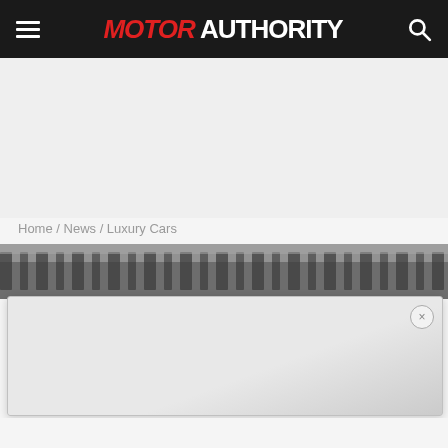MOTOR AUTHORITY — navigation bar with hamburger menu, logo, and search icon
[Figure (other): Gray advertisement placeholder area below the navigation bar]
Home / News / Luxury Cars
[Figure (photo): Blurred close-up of car wheel/tire detail in black and white strip]
[Figure (other): Light gray popup overlay with close (x) button in top right corner]